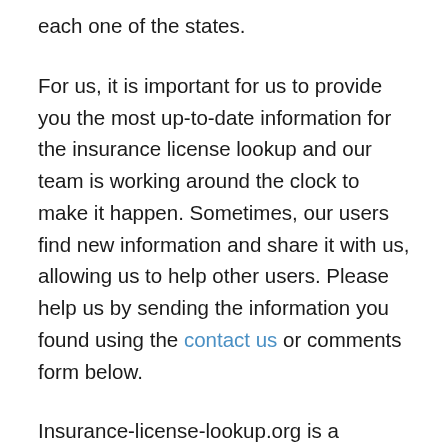each one of the states.
For us, it is important for us to provide you the most up-to-date information for the insurance license lookup and our team is working around the clock to make it happen. Sometimes, our users find new information and share it with us, allowing us to help other users. Please help us by sending the information you found using the contact us or comments form below.
Insurance-license-lookup.org is a completely independent & leading website for insurance